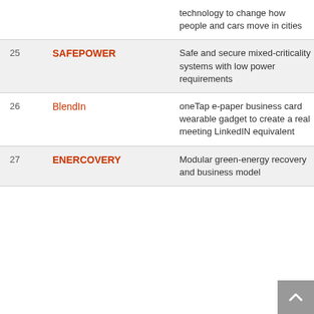| # | Name | Description |  |
| --- | --- | --- | --- |
|  |  | technology to change how people and cars move in cities |  |
| 25 | SAFEPOWER | Safe and secure mixed-criticality systems with low power requirements | 2 |
| 26 | BlendIn | oneTap e-paper business card wearable gadget to create a real meeting LinkedIN equivalent | 2 |
| 27 | ENERCOVERY | Modular green-energy recovery and business model | 2 |